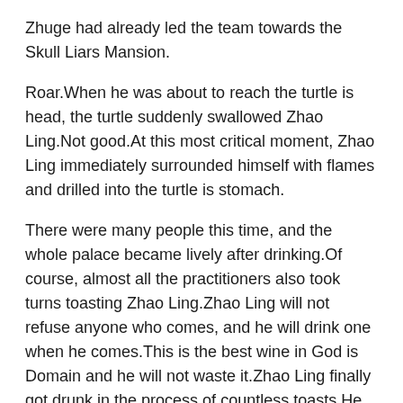Zhuge had already led the team towards the Skull Liars Mansion.
Roar.When he was about to reach the turtle is head, the turtle suddenly swallowed Zhao Ling.Not good.At this most critical moment, Zhao Ling immediately surrounded himself with flames and drilled into the turtle is stomach.
There were many people this time, and the whole palace became lively after drinking.Of course, almost all the practitioners also took turns toasting Zhao Ling.Zhao Ling will not refuse anyone who comes, and he will drink one when he comes.This is the best wine in God is Domain and he will not waste it.Zhao Ling finally got drunk in the process of countless toasts.He slammed it on the table.Xuan Linger did not ask any of her subordinates to help Zhao Ling, but chose to help Zhao Ling herself, can type 2 diabetes make you feel dizzy and she arranged Zhao Ling in her room.